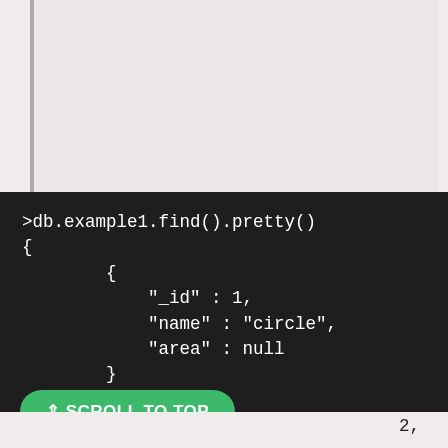[Figure (screenshot): Empty light pink/gray panel area above the code block]
>db.example1.find().pretty()
{
        {
            "_id" : 1,
            "name" : "circle",
            "area" : null
        }
        },
⇑ SCROLL TO TOP
2,